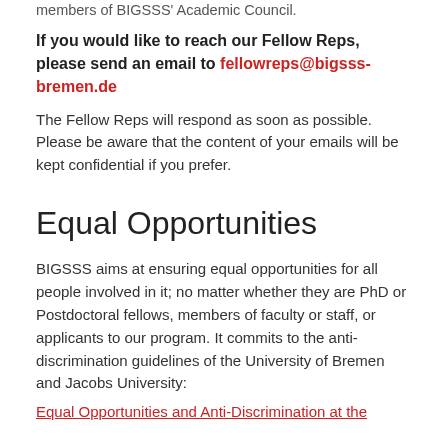members of BIGSSS' Academic Council.
If you would like to reach our Fellow Reps, please send an email to fellowreps@bigsss-bremen.de
The Fellow Reps will respond as soon as possible. Please be aware that the content of your emails will be kept confidential if you prefer.
Equal Opportunities
BIGSSS aims at ensuring equal opportunities for all people involved in it; no matter whether they are PhD or Postdoctoral fellows, members of faculty or staff, or applicants to our program. It commits to the anti-discrimination guidelines of the University of Bremen and Jacobs University:
Equal Opportunities and Anti-Discrimination at the...